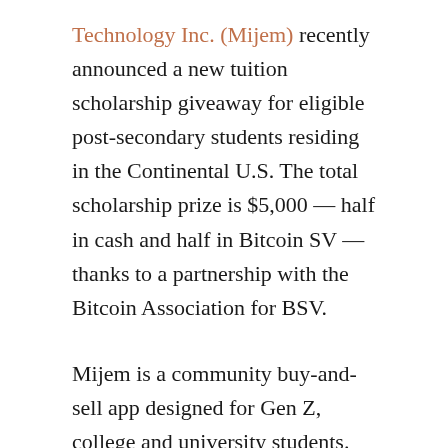Technology Inc. (Mijem) recently announced a new tuition scholarship giveaway for eligible post-secondary students residing in the Continental U.S. The total scholarship prize is $5,000 — half in cash and half in Bitcoin SV — thanks to a partnership with the Bitcoin Association for BSV.
Mijem is a community buy-and-sell app designed for Gen Z, college and university students. Centred around campuses, Mijem provides a safe and convenient platform to buy and sell goods and services like text books, clothing, electronics and more.